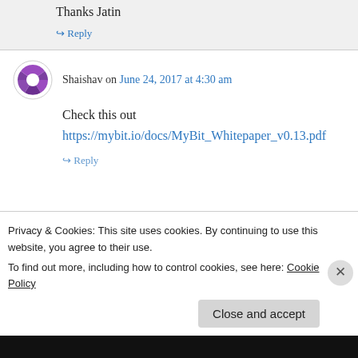Thanks Jatin
↳ Reply
Shaishav on June 24, 2017 at 4:30 am
Check this out
https://mybit.io/docs/MyBit_Whitepaper_v0.13.pdf
↳ Reply
Privacy & Cookies: This site uses cookies. By continuing to use this website, you agree to their use.
To find out more, including how to control cookies, see here: Cookie Policy
Close and accept